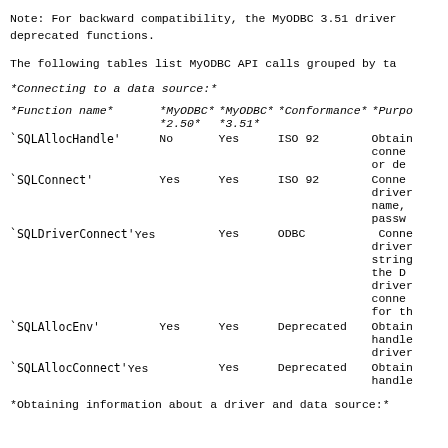Note: For backward compatibility, the MyODBC 3.51 driver includes support for deprecated functions.
The following tables list MyODBC API calls grouped by task.
*Connecting to a data source:*
| *Function name* | *MyODBC* *2.50* | *MyODBC* *3.51* | *Conformance* | *Purpose* |
| --- | --- | --- | --- | --- |
| `SQLAllocHandle' | No | Yes | ISO 92 | Obtain an environment, connection, or descriptor handle. |
| `SQLConnect' | Yes | Yes | ISO 92 | Connects to a driver by data source name, user ID, and password. |
| `SQLDriverConnect' | Yes | Yes | ODBC | Connects to a driver or data source using a connection string, or requests that the Driver Manager and driver display connection dialog boxes for the user. |
| `SQLAllocEnv' | Yes | Yes | Deprecated | Obtains an environment handle to create a new driver connection. |
| `SQLAllocConnect' | Yes | Yes | Deprecated | Obtains a connection handle. |
*Obtaining information about a driver and data source:*